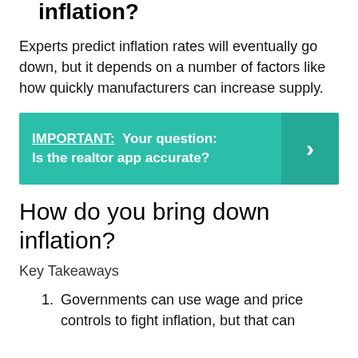inflation?
Experts predict inflation rates will eventually go down, but it depends on a number of factors like how quickly manufacturers can increase supply.
IMPORTANT:  Your question: Is the realtor app accurate?
How do you bring down inflation?
Key Takeaways
Governments can use wage and price controls to fight inflation, but that can